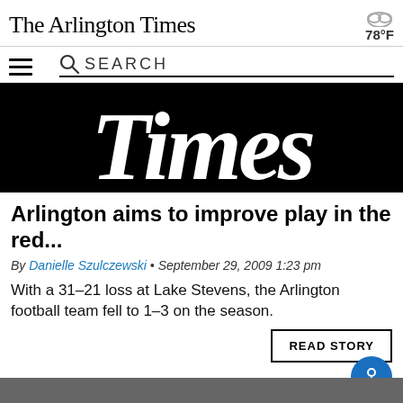The Arlington Times
78°F
[Figure (screenshot): Navigation bar with hamburger menu and search bar labeled SEARCH]
[Figure (photo): Black banner image with white Gothic/blackletter text reading 'Times']
Arlington aims to improve play in the red...
By Danielle Szulczewski • September 29, 2009 1:23 pm
With a 31-21 loss at Lake Stevens, the Arlington football team fell to 1-3 on the season.
[Figure (screenshot): READ STORY button and blue accessibility icon]